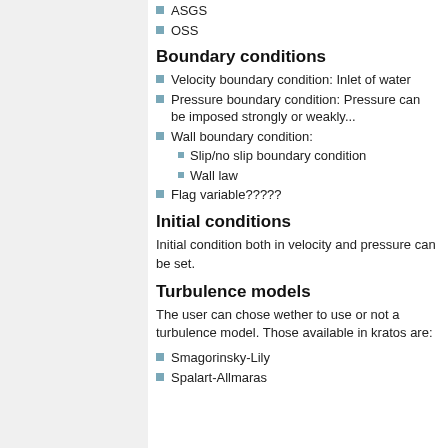ASGS
OSS
Boundary conditions
Velocity boundary condition: Inlet of water
Pressure boundary condition: Pressure can be imposed strongly or weakly...
Wall boundary condition:
Slip/no slip boundary condition
Wall law
Flag variable?????
Initial conditions
Initial condition both in velocity and pressure can be set.
Turbulence models
The user can chose wether to use or not a turbulence model. Those available in kratos are:
Smagorinsky-Lily
Spalart-Allmaras